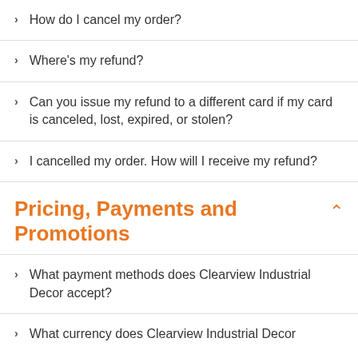How do I cancel my order?
Where's my refund?
Can you issue my refund to a different card if my card is canceled, lost, expired, or stolen?
I cancelled my order. How will I receive my refund?
Pricing, Payments and Promotions
What payment methods does Clearview Industrial Decor accept?
What currency does Clearview Industrial Decor accept?